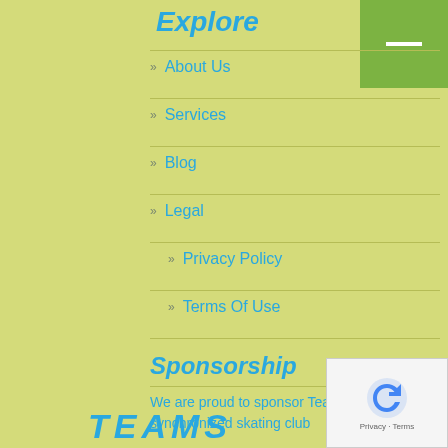Explore
About Us
Services
Blog
Legal
Privacy Policy
Terms Of Use
Sponsorship
We are proud to sponsor Teams Elite synchronized skating club
[Figure (logo): TEAMS logo text in blue italic bold letters]